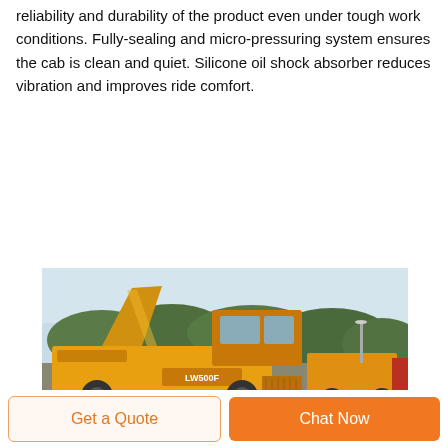reliability and durability of the product even under tough work conditions. Fully-sealing and micro-pressuring system ensures the cab is clean and quiet. Silicone oil shock absorber reduces vibration and improves ride comfort.
[Figure (photo): Yellow XCMG LW500F wheel loader with raised arm in outdoor setting with trees in background]
Get a Quote
Chat Now